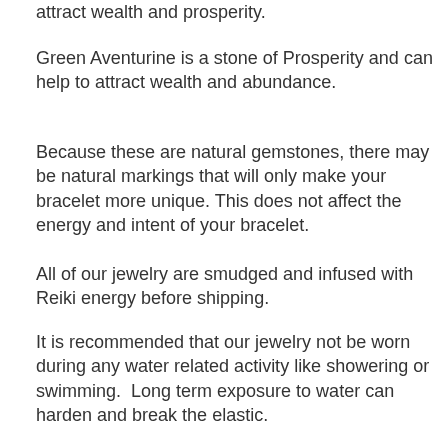attract wealth and prosperity.
Green Aventurine is a stone of Prosperity and can help to attract wealth and abundance.
Because these are natural gemstones, there may be natural markings that will only make your bracelet more unique. This does not affect the energy and intent of your bracelet.
All of our jewelry are smudged and infused with Reiki energy before shipping.
It is recommended that our jewelry not be worn during any water related activity like showering or swimming.  Long term exposure to water can harden and break the elastic.
SIZING:
Finished bracelet will include an extra 1/2" for comfort. For example, if you need a bracelet for a 6" wrist, please order the small at 6" (made at 6.5") and not a medium (made at 7"). If you are not sure of your size, please measure your wrist as close as